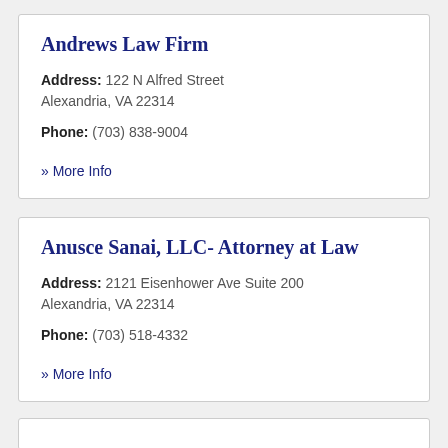Andrews Law Firm
Address: 122 N Alfred Street Alexandria, VA 22314
Phone: (703) 838-9004
» More Info
Anusce Sanai, LLC- Attorney at Law
Address: 2121 Eisenhower Ave Suite 200 Alexandria, VA 22314
Phone: (703) 518-4332
» More Info